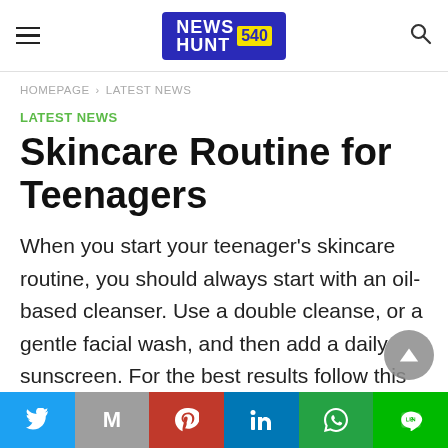NEWS HUNT 540
HOMEPAGE > LATEST NEWS
LATEST NEWS
Skincare Routine for Teenagers
When you start your teenager’s skincare routine, you should always start with an oil-based cleanser. Use a double cleanse, or a gentle facial wash, and then add a daily sunscreen. For the best results follow this routine every morning. Teenagers are
Twitter | Gmail | Pinterest | LinkedIn | WhatsApp | LINE